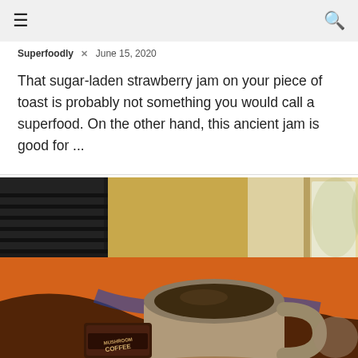☰  🔍
Superfoodly  ×  June 15, 2020
That sugar-laden strawberry jam on your piece of toast is probably not something you would call a superfood. On the other hand, this ancient jam is good for ...
[Figure (photo): Close-up photo of a mug of black coffee on an orange and black patterned surface, with a Mushroom Coffee packet in the foreground and a bright window in the background.]